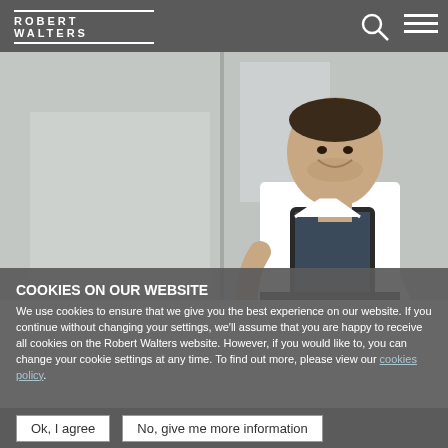the physical handshake
[Figure (photo): A smiling businessman in a white shirt reading from a tablet device, standing in a modern glass office environment]
COOKIES ON OUR WEBSITE
We use cookies to ensure that we give you the best experience on our website. If you continue without changing your settings, we'll assume that you are happy to receive all cookies on the Robert Walters website. However, if you would like to, you can change your cookie settings at any time. To find out more, please view our cookies policy.
Ok, I agree
No, give me more information